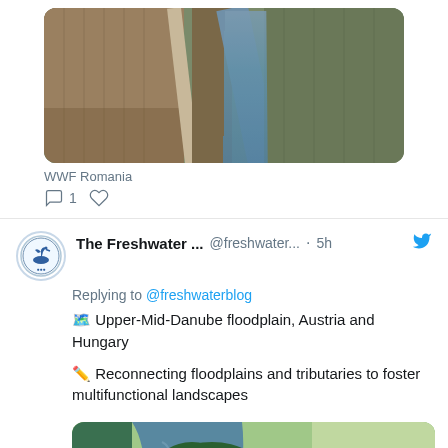[Figure (photo): Aerial view of canal/drainage channel through agricultural land with reeds, straight road/path alongside]
WWF Romania
1 [comment icon] [heart icon]
The Freshwater ...  @freshwater...  · 5h
Replying to @freshwaterblog
🗺 Upper-Mid-Danube floodplain, Austria and Hungary
✏️ Reconnecting floodplains and tributaries to foster multifunctional landscapes
[Figure (photo): Aerial view of river with green island/forest patch, agricultural fields, tributary junction]